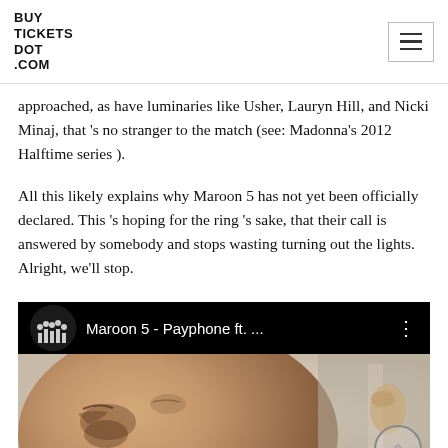BUY TICKETS DOT COM
approached, as have luminaries like Usher, Lauryn Hill, and Nicki Minaj, that 's no stranger to the match (see: Madonna's 2012 Halftime series ).
All this likely explains why Maroon 5 has not yet been officially declared. This 's hoping for the ring 's sake, that their call is answered by somebody and stops wasting turning out the lights. Alright, we'll stop.
[Figure (screenshot): YouTube video embed showing 'Maroon 5 - Payphone ft. ...' with a thumbnail of a close-up face with a bruised eye, a channel icon showing band members, and a three-dot menu icon.]